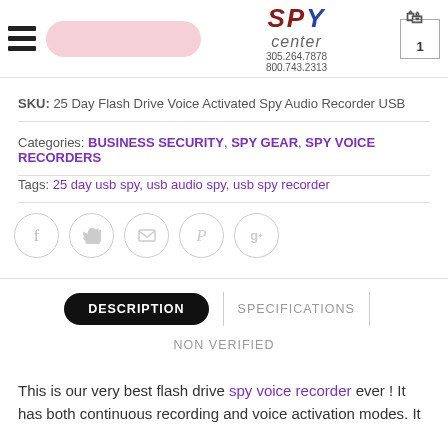SPY center 305.264.7878 800.743.2313
SKU: 25 Day Flash Drive Voice Activated Spy Audio Recorder USB
Categories: BUSINESS SECURITY, SPY GEAR, SPY VOICE RECORDERS
Tags: 25 day usb spy, usb audio spy, usb spy recorder
[Figure (other): Social sharing icons: Facebook, Twitter, Email, Pinterest, Google+]
DESCRIPTION | SPECIFICATIONS | NON VERIFIED
This is our very best flash drive spy voice recorder ever ! It has both continuous recording and voice activation modes. It